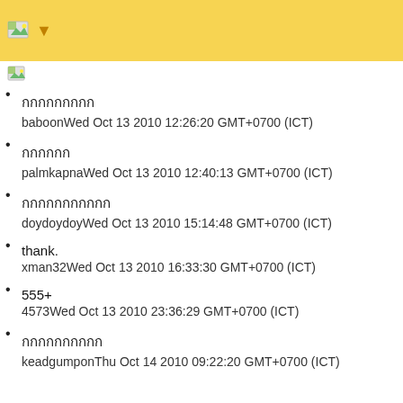[Figure (other): Small image icon at top of content area]
กกกกกกกกก
baboonWed Oct 13 2010 12:26:20 GMT+0700 (ICT)
กกกกกก
palmkapnaWed Oct 13 2010 12:40:13 GMT+0700 (ICT)
กกกกกกกกกกก
doydoydoyWed Oct 13 2010 15:14:48 GMT+0700 (ICT)
thank.
xman32Wed Oct 13 2010 16:33:30 GMT+0700 (ICT)
555+
4573Wed Oct 13 2010 23:36:29 GMT+0700 (ICT)
กกกกกกกกกก
keadgumponThu Oct 14 2010 09:22:20 GMT+0700 (ICT)